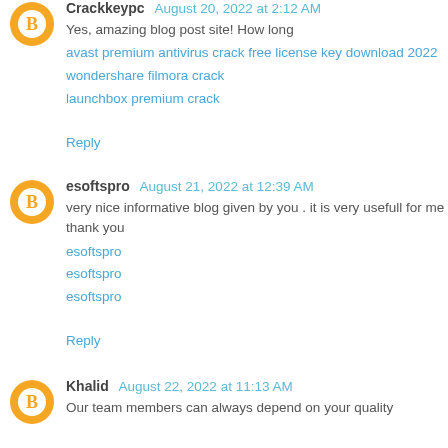Crackkeypc August 20, 2022 at 2:12 AM
Yes, amazing blog post site! How long
avast premium antivirus crack free license key download 2022
wondershare filmora crack
launchbox premium crack
Reply
esoftspro August 21, 2022 at 12:39 AM
very nice informative blog given by you . it is very usefull for me thank you
esoftspro
esoftspro
esoftspro
Reply
Khalid August 22, 2022 at 11:13 AM
Our team members can always depend on your quality